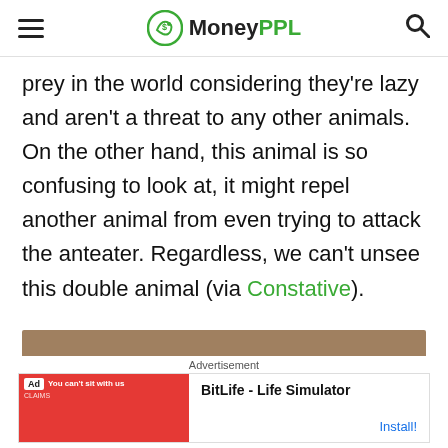MoneyPPL
prey in the world considering they're lazy and aren't a threat to any other animals. On the other hand, this animal is so confusing to look at, it might repel another animal from even trying to attack the anteater. Regardless, we can't unsee this double animal (via Constative).
Advertisement
[Figure (screenshot): BitLife - Life Simulator advertisement banner with red background image and install button]